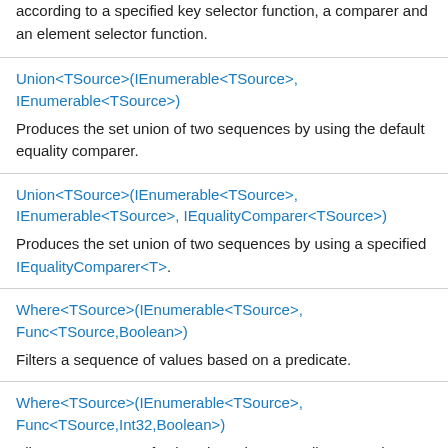according to a specified key selector function, a comparer and an element selector function.
Union<TSource>(IEnumerable<TSource>, IEnumerable<TSource>)
Produces the set union of two sequences by using the default equality comparer.
Union<TSource>(IEnumerable<TSource>, IEnumerable<TSource>, IEqualityComparer<TSource>)
Produces the set union of two sequences by using a specified IEqualityComparer<T>.
Where<TSource>(IEnumerable<TSource>, Func<TSource,Boolean>)
Filters a sequence of values based on a predicate.
Where<TSource>(IEnumerable<TSource>, Func<TSource,Int32,Boolean>)
Filters a sequence of values based on a predicate. Each element's index is used in the logic of the predicate function.